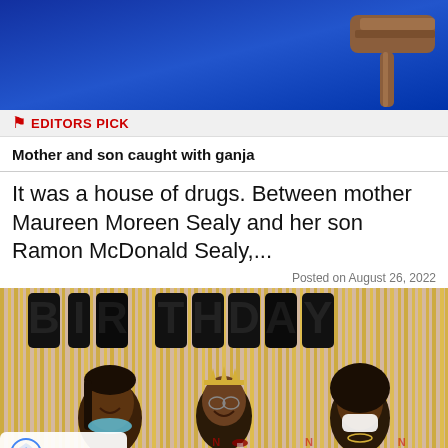[Figure (photo): Top banner image with blue gradient background and a wooden gavel on the right side]
EDITORS PICK
Mother and son caught with ganja
It was a house of drugs. Between mother Maureen Moreen Sealy and her son Ramon McDonald Sealy,...
Posted on August 26, 2022
[Figure (photo): Birthday party photo with three women celebrating, black letter balloons spelling BIRTHDAY with gold tinsel curtain backdrop. One woman wears a tiara. A reCAPTCHA privacy badge is visible in the lower left corner.]